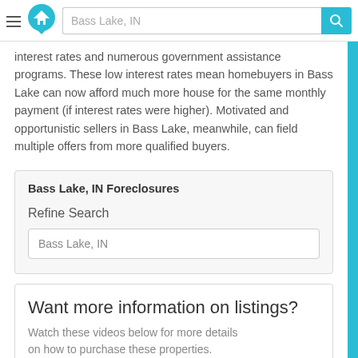[Figure (screenshot): Navigation bar with hamburger menu, home logo icon, search field showing 'Bass Lake, IN', and cyan search button with magnifier icon]
interest rates and numerous government assistance programs. These low interest rates mean homebuyers in Bass Lake can now afford much more house for the same monthly payment (if interest rates were higher). Motivated and opportunistic sellers in Bass Lake, meanwhile, can field multiple offers from more qualified buyers.
Bass Lake, IN Foreclosures
Refine Search
Bass Lake, IN
Want more information on listings?
Watch these videos below for more details on how to purchase these properties.